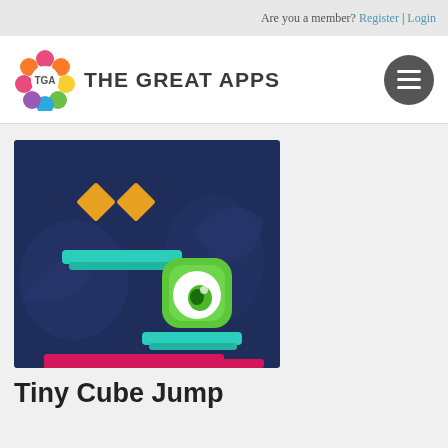Are you a member? Register | Login
[Figure (logo): The Great Apps logo with colorful flower/circles icon and text 'The Great Apps']
[Figure (screenshot): Tiny Cube Jump game screenshot showing a dark blue background with a green monster character with one eye, teal platform, orange diamond shapes, and a pink obstacle bar]
Tiny Cube Jump